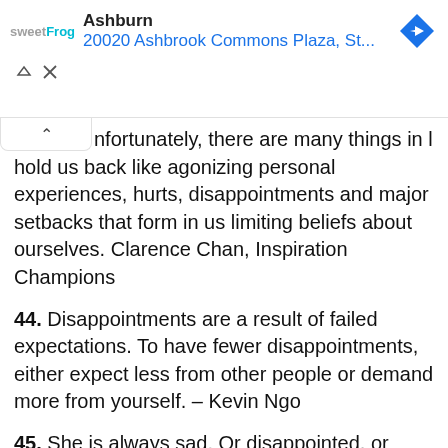[Figure (screenshot): Ad banner showing sweetFrog frozen yogurt location in Ashburn at 20020 Ashbrook Commons Plaza with navigation icon]
unfortunately, there are many things in life that hold us back like agonizing personal experiences, hurts, disappointments and major setbacks that form in us limiting beliefs about ourselves. Clarence Chan, Inspiration Champions
44. Disappointments are a result of failed expectations. To have fewer disappointments, either expect less from other people or demand more from yourself. – Kevin Ngo
45. She is always sad. Or disappointed, or shocked, or Unaware. Not becoming of a Senator.